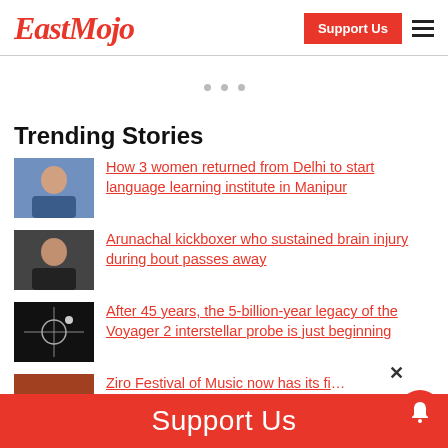EastMojo
Trending Stories
How 3 women returned from Delhi to start language learning institute in Manipur
Arunachal kickboxer who sustained brain injury during bout passes away
After 45 years, the 5-billion-year legacy of the Voyager 2 interstellar probe is just beginning
Ziro Festival of Music now has its first director...
Support Us